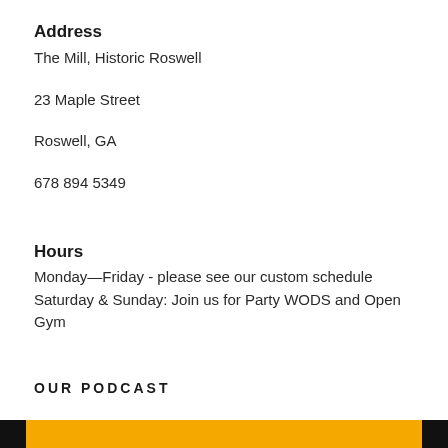Address
The Mill, Historic Roswell
23 Maple Street
Roswell, GA
678 894 5349
Hours
Monday—Friday - please see our custom schedule
Saturday & Sunday: Join us for Party WODS and Open Gym
OUR PODCAST
[Figure (other): Orange and black podcast bar at bottom of page]